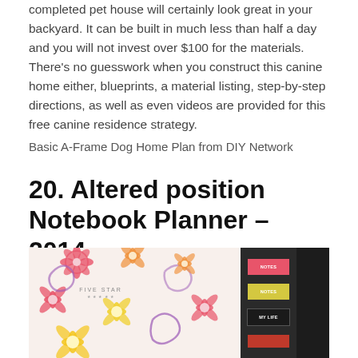completed pet house will certainly look great in your backyard. It can be built in much less than half a day and you will not invest over $100 for the materials. There's no guesswork when you construct this canine home either, blueprints, a material listing, step-by-step directions, as well as even videos are provided for this free canine residence strategy.
Basic A-Frame Dog Home Plan from DIY Network
20. Altered position Notebook Planner – 2014
[Figure (photo): Close-up photo of a Five Star notebook planner with colorful floral pattern (pink, orange, yellow, purple flowers) on white cover, with tabbed dividers labeled on the right side, against a dark black background.]